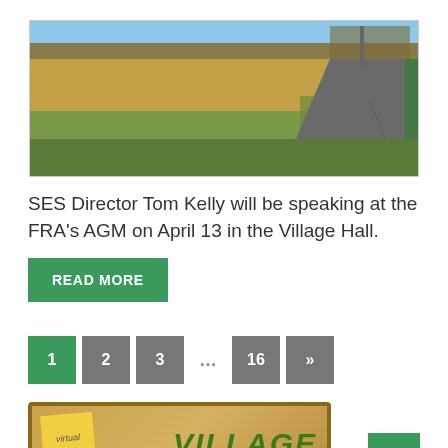[Figure (photo): Outdoor photo of a paved path alongside a grassy field with dry reeds and bare trees under a blue sky]
SES Director Tom Kelly will be speaking at the FRA's AGM on April 13 in the Village Hall.
READ MORE
1 2 3 ... 16 »
[Figure (photo): Virtual Village notice board card with 'VILLAGE' text]